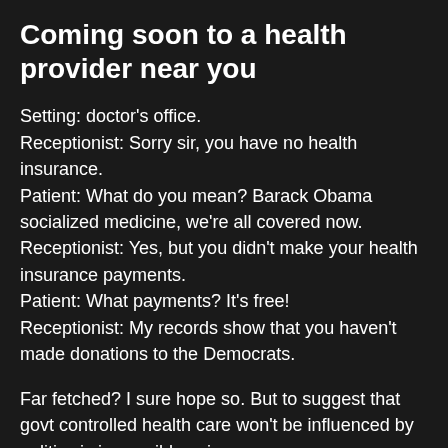Coming soon to a health provider near you
Setting: doctor's office.
Receptionist: Sorry sir, you have no health insurance.
Patient: What do you mean? Barack Obama socialized medicine, we're all covered now.
Receptionist: Yes, but you didn't make your health insurance payments.
Patient: What payments? It's free!
Receptionist: My records show that you haven't made donations to the Democrats.
Far fetched? I sure hope so. But to suggest that govt controlled health care won't be influenced by politics is impossibly naive.
Hey, I'm not dogmatic. But I think that people who would give the govt more responsibilities would do well should insist that we get rid of the existing corruption and improve the performance of existing functions first. Is there something